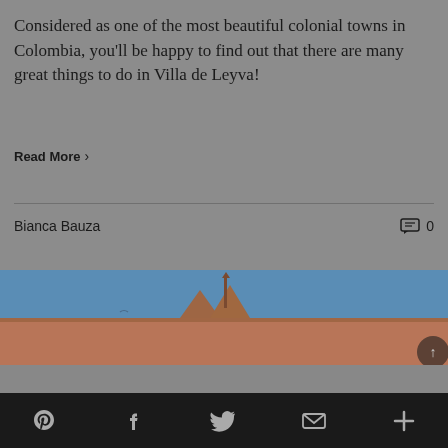Considered as one of the most beautiful colonial towns in Colombia, you’ll be happy to find out that there are many great things to do in Villa de Leyva!
Read More >
Bianca Bauza
0
[Figure (photo): Rooftop of a colonial-style terracotta building against a blue sky, with a small statue or spire visible at the top.]
Pinterest | Facebook | Twitter | Email | More